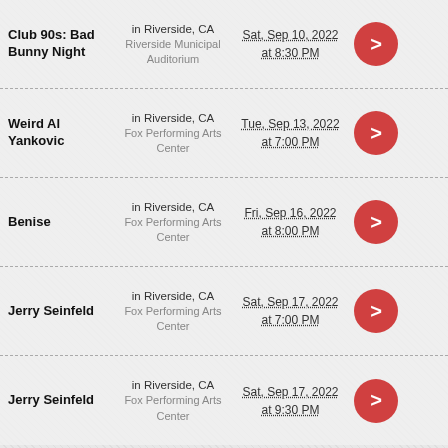Club 90s: Bad Bunny Night | in Riverside, CA | Riverside Municipal Auditorium | Sat, Sep 10, 2022 at 8:30 PM
Weird Al Yankovic | in Riverside, CA | Fox Performing Arts Center | Tue, Sep 13, 2022 at 7:00 PM
Benise | in Riverside, CA | Fox Performing Arts Center | Fri, Sep 16, 2022 at 8:00 PM
Jerry Seinfeld | in Riverside, CA | Fox Performing Arts Center | Sat, Sep 17, 2022 at 7:00 PM
Jerry Seinfeld | in Riverside, CA | Fox Performing Arts Center | Sat, Sep 17, 2022 at 9:30 PM